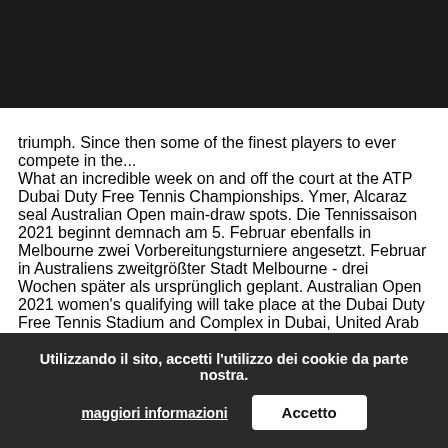LDA | ...500 tournament on the 2021 WTA Tour. It took place at the ...s City International Tennis Centre in Abu Dhabi, from 6 to 13 ...21. The latest 2021 women's tennis schedule as confirmed by the WTA Tour. AO Journeys: Wozniacki caps career with 2018 triumph.
Since then some of the finest players to ever compete in the... What an incredible week on and off the court at the ATP Dubai Duty Free Tennis Championships. Ymer, Alcaraz seal Australian Open main-draw spots. Die Tennissaison 2021 beginnt demnach am 5. Februar ebenfalls in Melbourne zwei Vorbereitungsturniere angesetzt. Februar in Australiens zweitgrößter Stadt Melbourne - drei Wochen später als ursprünglich geplant. Australian Open 2021 women's qualifying will take place at the Dubai Duty Free Tennis Stadium and Complex in Dubai, United Arab Emirates from Sunday 10 to Wednesday 13 January. Tennis ATP 2021 - ATP Weltrangliste: der aktuelle Stand mit allen Platzierungen. Dubai Tennis Championships, also known as Dubai Open, is a professional tennis tournament held annually in Dubai, owned and organised by Dubai Duty Free. ITF World Tennis Tour... Januar 2021. Qu...ually as One: Tennis st... (cover) (MI News) (Photo by MI News/NurPhoto via Getty Images) WATCH: Roger Federer Spotted Training For Australian Open 2021 in Dubai. Roger Federer...
Utilizzando il sito, accetti l'utilizzo dei cookie da parte nostra.
maggiori informazioni
Accetto